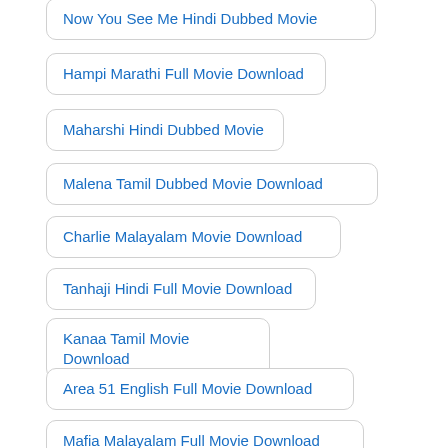Now You See Me Hindi Dubbed Movie
Hampi Marathi Full Movie Download
Maharshi Hindi Dubbed Movie
Malena Tamil Dubbed Movie Download
Charlie Malayalam Movie Download
Tanhaji Hindi Full Movie Download
Kanaa Tamil Movie Download
Area 51 English Full Movie Download
Mafia Malayalam Full Movie Download
Mr. Santa Malayalam Movie Download